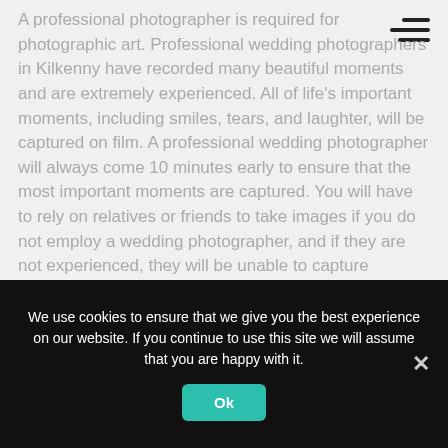A professional photographer is required for photographic art. Professional wedding photographers in Kilkenny have recorded many beautiful moments and are extremely experienced. All of life's important moments, including smiles, tears, and laughter, will be captured on film. A professional wedding photographer will always come 10 minutes early to ensure that the most important moments are captured. You will have to rely on relatives or friends to take images if you do not employ a wedding photographer, and if they are not experienced, they will be unable to capture unforgettable moments.
We use cookies to ensure that we give you the best experience on our website. If you continue to use this site we will assume that you are happy with it.